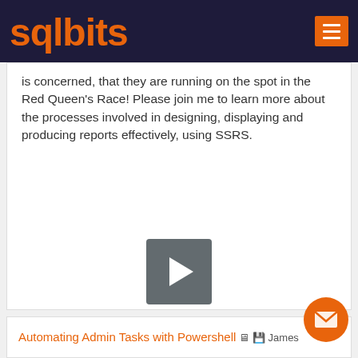sqlbits
is concerned, that they are running on the spot in the Red Queen's Race! Please join me to learn more about the processes involved in designing, displaying and producing reports effectively, using SSRS.
[Figure (screenshot): Video play button - a dark grey square with a white triangle play icon in the center]
Automating Admin Tasks with Powershell James